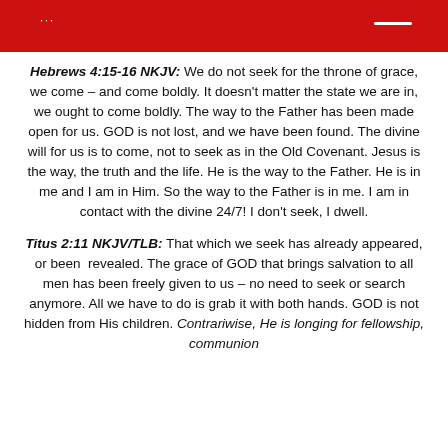...
Hebrews 4:15-16 NKJV: We do not seek for the throne of grace, we come – and come boldly. It doesn't matter the state we are in, we ought to come boldly. The way to the Father has been made open for us. GOD is not lost, and we have been found. The divine will for us is to come, not to seek as in the Old Covenant. Jesus is the way, the truth and the life. He is the way to the Father. He is in me and I am in Him. So the way to the Father is in me. I am in contact with the divine 24/7! I don't seek, I dwell.
Titus 2:11 NKJV/TLB: That which we seek has already appeared, or been revealed. The grace of GOD that brings salvation to all men has been freely given to us – no need to seek or search anymore. All we have to do is grab it with both hands. GOD is not hidden from His children. Contrariwise, He is longing for fellowship, communion